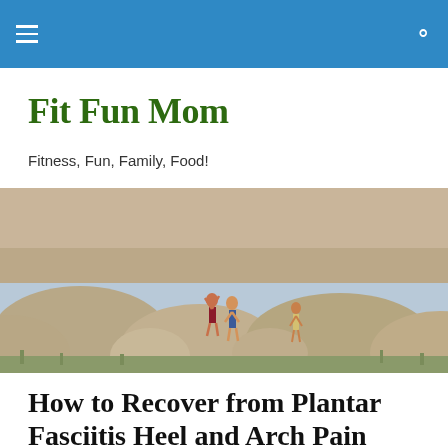Fit Fun Mom — navigation bar with hamburger menu and search icon
Fit Fun Mom
Fitness, Fun, Family, Food!
[Figure (photo): Family climbing on large granite boulders in a desert landscape, with scrubby grass and rock formations in the background.]
How to Recover from Plantar Fasciitis Heel and Arch Pain
The signs and symptoms of plantar fasciitis (plan-tur fashee-EYE-tiss) started out mild for me. About 10 weeks